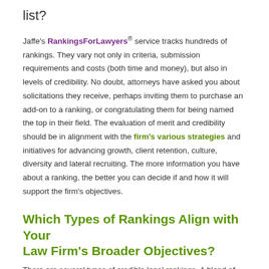list?
Jaffe's RankingsForLawyers® service tracks hundreds of rankings. They vary not only in criteria, submission requirements and costs (both time and money), but also in levels of credibility. No doubt, attorneys have asked you about solicitations they receive, perhaps inviting them to purchase an add-on to a ranking, or congratulating them for being named the top in their field. The evaluation of merit and credibility should be in alignment with the firm's various strategies and initiatives for advancing growth, client retention, culture, diversity and lateral recruiting. The more information you have about a ranking, the better you can decide if and how it will support the firm's objectives.
Which Types of Rankings Align with Your Law Firm's Broader Objectives?
There are several types of credible legal rankings. A blend of rankings